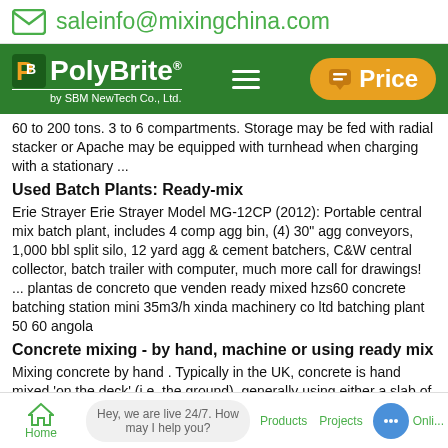saleinfo@mixingchina.com
[Figure (logo): PolyBrite by SBM NewTech Co., Ltd. logo on green navigation bar with hamburger menu and Price button]
60 to 200 tons. 3 to 6 compartments. Storage may be fed with radial stacker or Apache may be equipped with turnhead when charging with a stationary ...
Used Batch Plants: Ready-mix
Erie Strayer Erie Strayer Model MG-12CP (2012): Portable central mix batch plant, includes 4 comp agg bin, (4) 30" agg conveyors, 1,000 bbl split silo, 12 yard agg & cement batchers, C&W central collector, batch trailer with computer, much more call for drawings! ... plantas de concreto que venden ready mixed hzs60 concrete batching station mini 35m3/h xinda machinery co ltd batching plant 50 60 angola
Concrete mixing - by hand, machine or using ready mix
Mixing concrete by hand . Typically in the UK, concrete is hand mixed 'on the deck' (i.e. the ground), generally using either a slab of existing concrete or a large mixing board - both of which can easily be hosed down and cleaned off afterwards.
Home  Products  Projects  Online  |  Hey, we are live 24/7. How may I help you?